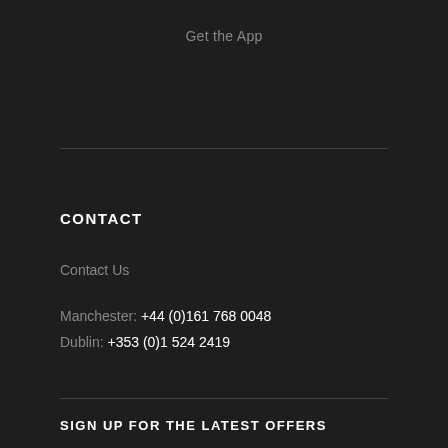Get the App
CONTACT
Contact Us
Manchester: +44 (0)161 768 0048
Dublin: +353 (0)1 524 2419
SIGN UP FOR THE LATEST OFFERS